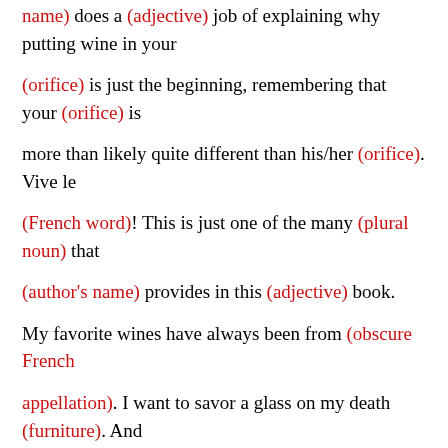name) does a (adjective) job of explaining why putting wine in your
(orifice) is just the beginning, remembering that your (orifice) is
more than likely quite different than his/her (orifice). Vive le
(French word)! This is just one of the many (plural noun) that
(author's name) provides in this (adjective) book.
My favorite wines have always been from (obscure French
appellation). I want to savor a glass on my death (furniture). And